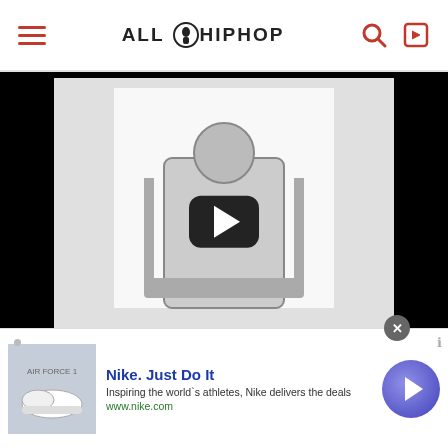ALL HIP HOP
[Figure (screenshot): Video thumbnail showing a hip-hop record label artwork with a figure sitting on a throne, text reading RECORDS at the bottom, with a play button overlay on a black background]
real talk tho after wat alize said on I NEED A DOCTOR about how all he needz is da WHITE BOy this could turn 2 🔴 quick smh..
[Figure (other): Nike advertisement banner: Nike. Just Do It. Inspiring the world's athletes, Nike delivers the deals. www.nike.com. Shows Air Force 1 sneaker image.]